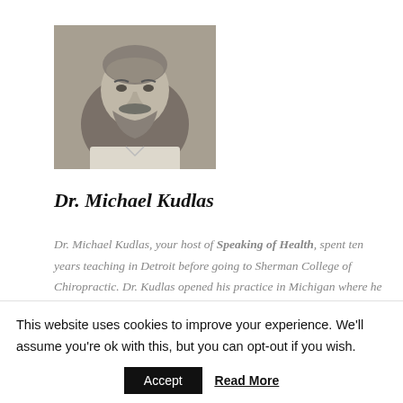[Figure (photo): Black and white portrait photo of Dr. Michael Kudlas, an older bald man with a mustache and beard, wearing a white shirt.]
Dr. Michael Kudlas
Dr. Michael Kudlas, your host of Speaking of Health, spent ten years teaching in Detroit before going to Sherman College of Chiropractic. Dr. Kudlas opened his practice in Michigan where he has been in active practice for the past 30 years, presently in Kalamazoo,
This website uses cookies to improve your experience. We'll assume you're ok with this, but you can opt-out if you wish.
Accept   Read More